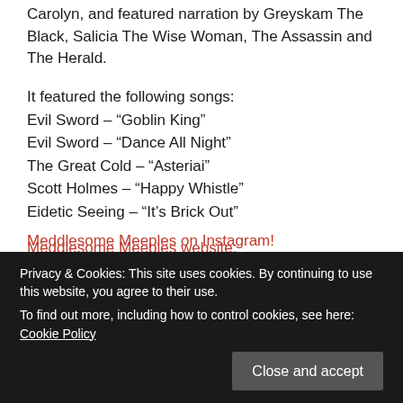Carolyn, and featured narration by Greyskam The Black, Salicia The Wise Woman, The Assassin and The Herald.
It featured the following songs:
Evil Sword – “Goblin King”
Evil Sword – “Dance All Night”
The Great Cold – “Asteriai”
Scott Holmes – “Happy Whistle”
Eidetic Seeing – “It’s Brick Out”
Meddlesome Meeples website: https://goo.gl/LiXWAV
SOCIAL MEDIA LINKS:
Meddlesome Meeples on Instagram!
Privacy & Cookies: This site uses cookies. By continuing to use this website, you agree to their use. To find out more, including how to control cookies, see here: Cookie Policy